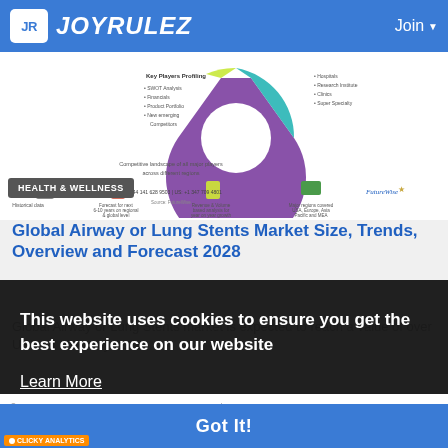JOYRULEZ | Join
[Figure (infographic): Market research report infographic showing a donut chart with colored segments (green, yellow, purple, teal), key points profiling including SWOT Analysis, Financials, Product Portfolio, New Emerging Competitors, Competitive landscape of all major players across different regions, Historical data, Forecast for next 6-10 years on regional & global level, Revenue & Volume based analysis for year on year growth, Major regions covered USA, Europe, Asia Pacific and MEA. FutureWise branding. Contact info: +44 141 628 9503 | US: +1 347 709 4801]
HEALTH & WELLNESS
Global Airway or Lung Stents Market Size, Trends, Overview and Forecast 2028
Global Airway or Lung Stents market is expected to reach a value of over USD xx billion by 2028
This website uses cookies to ensure you get the best experience on our website
Learn More
©
Al ... rums
Got It!